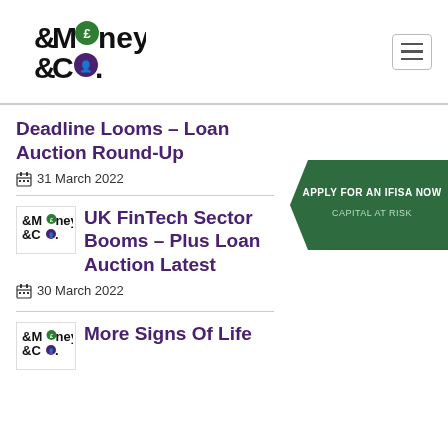[Figure (logo): Money & Co. logo with pound and people icons]
Deadline Looms – Loan Auction Round-Up
31 March 2022
[Figure (logo): Money & Co. thumbnail logo]
UK FinTech Sector Booms – Plus Loan Auction Latest
30 March 2022
[Figure (logo): Money & Co. thumbnail logo]
More Signs Of Life
[Figure (infographic): APPLY FOR AN IFISA NOW — CAPITAL AT RISK green arrow banner]